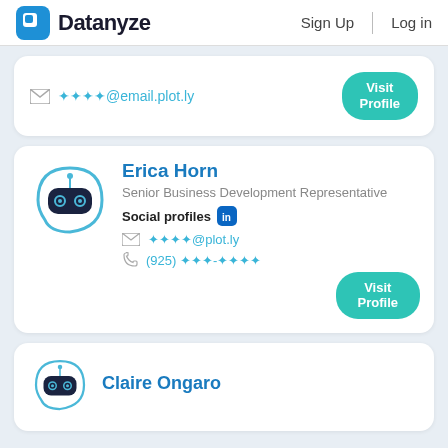Datanyze — Sign Up | Log in
✉ ****@email.plot.ly — Visit Profile
Erica Horn
Senior Business Development Representative
Social profiles [in]
✉ ****@plot.ly
(925) ***-****
Visit Profile
Claire Ongaro